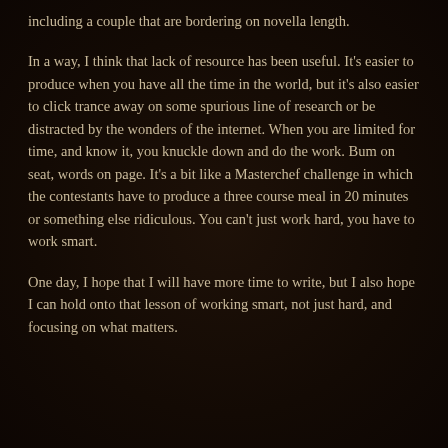including a couple that are bordering on novella length.
In a way, I think that lack of resource has been useful. It’s easier to produce when you have all the time in the world, but it’s also easier to click trance away on some spurious line of research or be distracted by the wonders of the internet. When you are limited for time, and know it, you knuckle down and do the work. Bum on seat, words on page. It’s a bit like a Masterchef challenge in which the contestants have to produce a three course meal in 20 minutes or something else ridiculous. You can’t just work hard, you have to work smart.
One day, I hope that I will have more time to write, but I also hope I can hold onto that lesson of working smart, not just hard, and focusing on what matters.